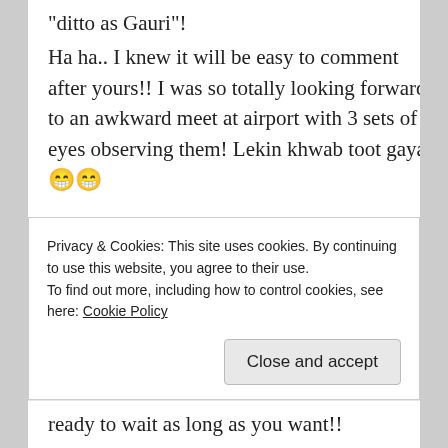“ditto as Gauri”!
Ha ha.. I knew it will be easy to comment after yours!! I was so totally looking forward to an awkward meet at airport with 3 sets of eyes observing them! Lekin khwab toot gaya.. 😁😁
Totally agree that Meera Mohan meet is eagerly awaited!
Dr. Raizada is being very smart.. Gifting a phone under pretext of saving SIM change
Privacy & Cookies: This site uses cookies. By continuing to use this website, you agree to their use.
To find out more, including how to control cookies, see here: Cookie Policy
Close and accept
ready to wait as long as you want!!